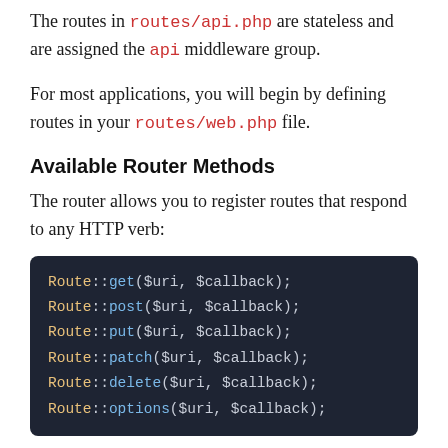The routes in routes/api.php are stateless and are assigned the api middleware group.
For most applications, you will begin by defining routes in your routes/web.php file.
Available Router Methods
The router allows you to register routes that respond to any HTTP verb:
[Figure (screenshot): Dark-themed code block showing PHP Route facade method calls: Route::get($uri, $callback); Route::post($uri, $callback); Route::put($uri, $callback); Route::patch($uri, $callback); Route::delete($uri, $callback); Route::options($uri, $callback);]